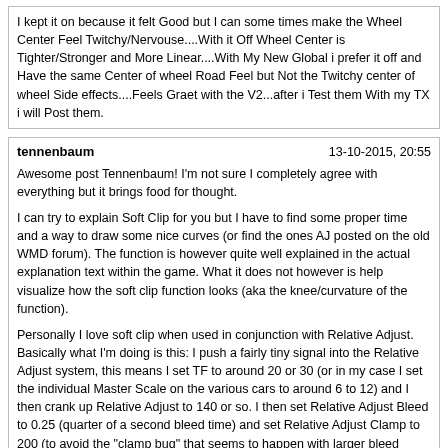I kept it on because it felt Good but I can some times make the Wheel Center Feel Twitchy/Nervouse....With it Off Wheel Center is Tighter/Stronger and More Linear....With My New Global i prefer it off and Have the same Center of wheel Road Feel but Not the Twitchy center of wheel Side effects....Feels Graet with the V2...after i Test them With my TX i will Post them.
tennenbaum
13-10-2015, 20:55
Awesome post Tennenbaum! I'm not sure I completely agree with everything but it brings food for thought.

I can try to explain Soft Clip for you but I have to find some proper time and a way to draw some nice curves (or find the ones AJ posted on the old WMD forum). The function is however quite well explained in the actual explanation text within the game. What it does not however is help visualize how the soft clip function looks (aka the knee/curvature of the function).

Personally I love soft clip when used in conjunction with Relative Adjust. Basically what I'm doing is this: I push a fairly tiny signal into the Relative Adjust system, this means I set TF to around 20 or 30 (or in my case I set the individual Master Scale on the various cars to around 6 to 12) and I then crank up Relative Adjust to 140 or so. I then set Relative Adjust Bleed to 0.25 (quarter of a second bleed time) and set Relative Adjust Clamp to 200 (to avoid the "clamp bug" that seems to happen with larger bleed values).

If you leave it as it is you'll have really weak forces, so what do I do? I use Soft Clip (half input) to bump up the low level forces to the range I want. In this case it's usually set to 0.2 or 0.3 (at this moment I have it at 0.2). Finally I set Soft Clip (full output) so that it further shapes the top peaks so that I have virtually zero chance of clipping. Usually I set it to around 1.79 or so. The last step is then to use Steering Gain parameter to bring up the overall FFB so that all my forces are right at the ceiling of clipping.

Keep in mind that I also tweak the individual car Fx, Fz, Fy and Mz forces so that I mainly feel Mz while cornering and Fz and Fx so that I have awesome "information" while threshold breaking or throwing around the car. Fz also helps a lot with the self-aligning torque. If you go Mz only you'll easily run into some